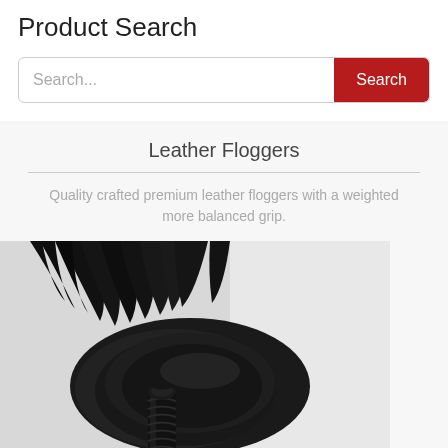Product Search
Search...
Leather Floggers
Quality crafted premium leather floggers with a weighted more balanced grip.
[Figure (photo): Close-up photo of a black leather flogger with braided handle and multiple leather tails, coiled and resting on a light background.]